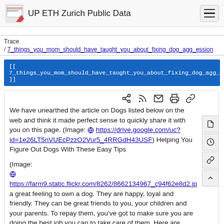UP ETH Zurich Public Data
Trace / 7_things_you_mom_should_have_taught_you_about_fixing_dog_agg_ession
[[ 7_things_you_mom_should_have_taught_you_about_fixing_dog_agg_ession ]]
We have unearthed the article on Dogs listed below on the web and think it made perfect sense to quickly share it with you on this page. (Image: https://drive.google.com/uc?id=1e26LT5nVUEcPzzO2Vur5_4RRGdH43USF) Helping You Figure Out Dogs With These Easy Tips
(Image: https://farm9.static.flickr.com/8262/8662134967_c94f62e8d2.jp... a great feeling to own a dog. They are happy, loyal and friendly. They can be great friends to you, your children and your parents. To repay them, you've got to make sure you are doing the best job you can to take care of them. Here are some tips you can use to do that.